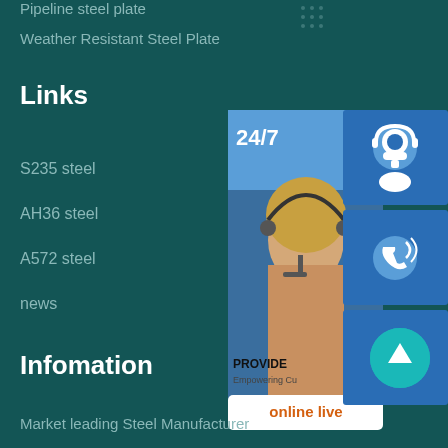Pipeline steel plate
Weather Resistant Steel Plate
Links
S235 steel
AH36 steel
A572 steel
news
[Figure (illustration): Customer service widget panel showing a woman with headset, 24/7 label, icons for headset/phone/Skype, PROVIDE Empowering Customers text, and an online live button. A teal circle up-arrow button is also shown.]
Infomation
Market leading Steel Manufacturer